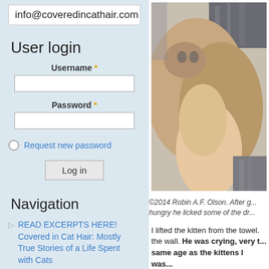[Figure (screenshot): Email address banner: info@coveredincathair.com]
User login
Username *
Password *
Request new password
Log in
Navigation
READ EXCERPTS HERE! Covered in Cat Hair: Mostly True Stories of a Life Spent with Cats
Foster Cat Diary
[Figure (photo): Close-up photo of a small kitten being held by a human hand, showing the kitten's face and body from close range]
©2014 Robin A.F. Olson. After g... hungry he licked some of the dr...
I lifted the kitten from the towel. the wall. He was crying, very t... same age as the kittens I was...